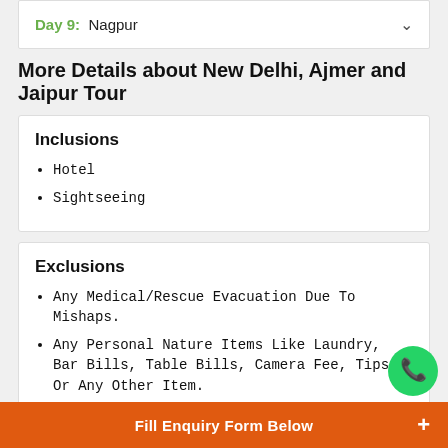Day 9: Nagpur
More Details about New Delhi, Ajmer and Jaipur Tour
Inclusions
Hotel
Sightseeing
Exclusions
Any Medical/Rescue Evacuation Due To Mishaps.
Any Personal Nature Items Like Laundry, Bar Bills, Table Bills, Camera Fee, Tips Or Any Other Item.
Mineral Water/Soft Or Hard Drinks/Starters.
Entrance Free.
Elephant Ride.
Fill Enquiry Form Below +